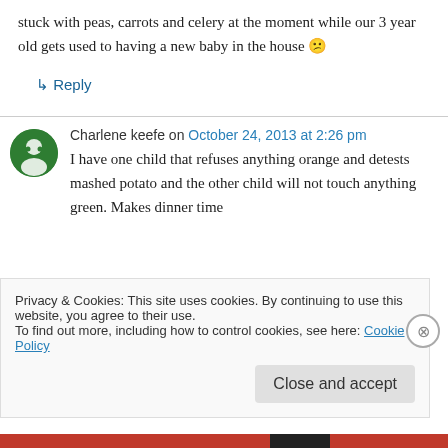stuck with peas, carrots and celery at the moment while our 3 year old gets used to having a new baby in the house 😕
↳ Reply
Charlene keefe on October 24, 2013 at 2:26 pm
I have one child that refuses anything orange and detests mashed potato and the other child will not touch anything green. Makes dinner time
Privacy & Cookies: This site uses cookies. By continuing to use this website, you agree to their use.
To find out more, including how to control cookies, see here: Cookie Policy
Close and accept